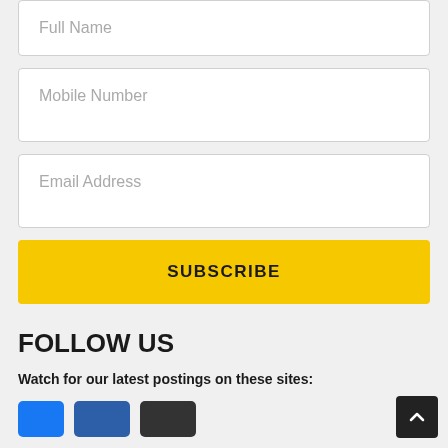Full Name
Mobile Number
Email Address
SUBSCRIBE
FOLLOW US
Watch for our latest postings on these sites:
[Figure (other): Social media icons: blue Facebook icon, blue Facebook/LinkedIn icon, dark icon]